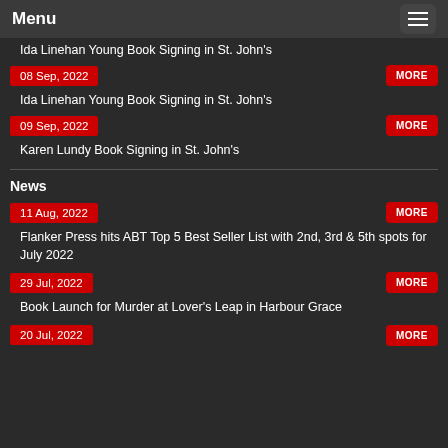Menu
Ida Linehan Young Book Signing in St. John's
08 Sep, 2022
MORE
Ida Linehan Young Book Signing in St. John's
09 Sep, 2022
MORE
Karen Lundy Book Signing in St. John's
News
11 Aug, 2022
MORE
Flanker Press hits ABT Top 5 Best Seller List with 2nd, 3rd & 5th spots for July 2022
29 Jul, 2022
MORE
Book Launch for Murder at Lover's Leap in Harbour Grace
20 Jul, 2022
MORE